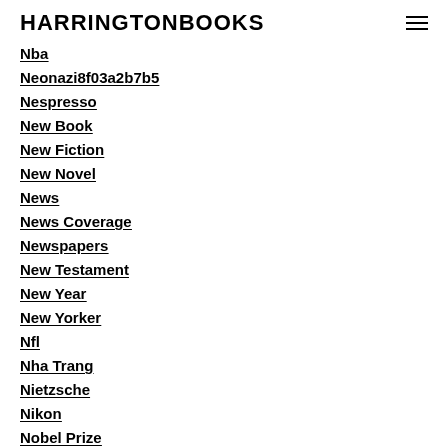HARRINGTONBOOKS
Nba
Neonazi8f03a2b7b5
Nespresso
New Book
New Fiction
New Novel
News
News Coverage
Newspapers
New Testament
New Year
New Yorker
Nfl
Nha Trang
Nietzsche
Nikon
Nobel Prize